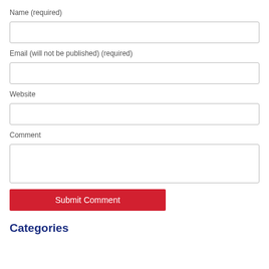Name (required)
[Figure (other): Empty text input field for Name]
Email (will not be published) (required)
[Figure (other): Empty text input field for Email]
Website
[Figure (other): Empty text input field for Website]
Comment
[Figure (other): Empty textarea field for Comment]
Submit Comment
Categories